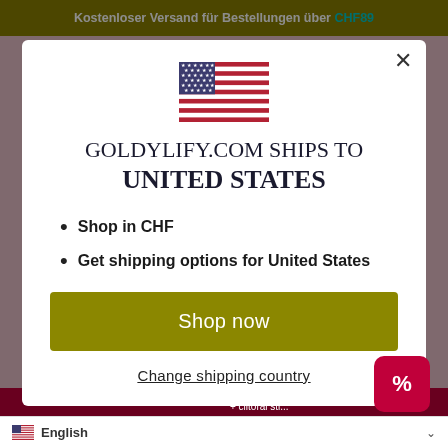Kostenloser Versand für Bestellungen über CHF89
[Figure (screenshot): Modal popup on e-commerce website showing US flag, shipping info for United States, Shop now button, and Change shipping country link]
GOLDYLIFY.COM SHIPS TO UNITED STATES
Shop in CHF
Get shipping options for United States
Shop now
Change shipping country
English